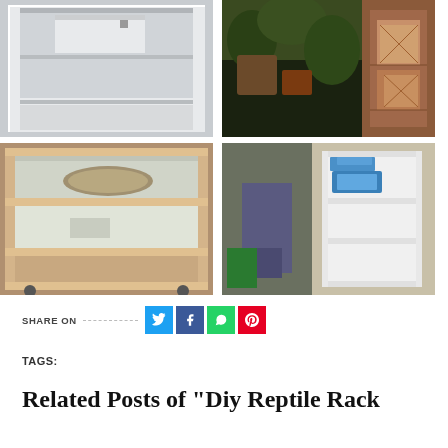[Figure (photo): Four photos of DIY reptile rack enclosures in a 2x2 grid: top-left shows white shelf unit with slide, top-right shows terrarium with plants and wooden enclosure, bottom-left shows wooden rack with tubs and reptile inside, bottom-right shows white bookshelf-style rack unit]
SHARE ON
TAGS:
Related Posts of "Diy Reptile Rack